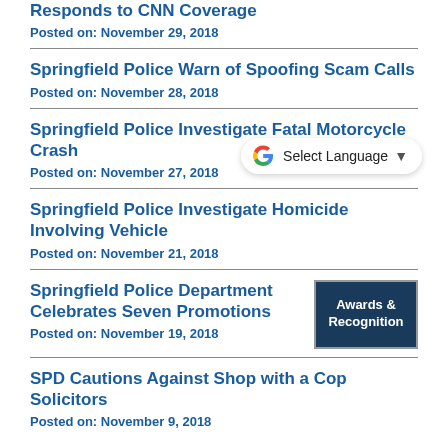STATEMENT: Springfield Police Department Responds to CNN Coverage
Posted on: November 29, 2018
Springfield Police Warn of Spoofing Scam Calls
Posted on: November 28, 2018
[Figure (screenshot): Google Translate widget showing 'Select Language' with dropdown arrow]
Springfield Police Investigate Fatal Motorcycle Crash
Posted on: November 27, 2018
Springfield Police Investigate Homicide Involving Vehicle
Posted on: November 21, 2018
Springfield Police Department Celebrates Seven Promotions
[Figure (illustration): Awards & Recognition badge with dark navy background]
Posted on: November 19, 2018
SPD Cautions Against Shop with a Cop Solicitors
Posted on: November 9, 2018